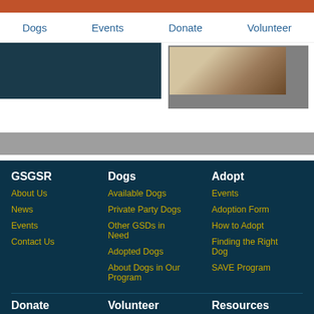Dogs | Events | Donate | Volunteer
[Figure (photo): Two image panels: left panel is a dark navy rectangle, right panel shows a dog's paw on a book/textured surface against a gray background]
GSGSR | Dogs | Adopt | Donate | Volunteer | Resources
About Us | Available Dogs | Events | How to Donate | About | Overview
News | Private Party Dogs | Adoption Form
Events | Other GSDs in Need | How to Adopt
Contact Us | Adopted Dogs | Finding the Right Dog
About Dogs in Our Program | SAVE Program